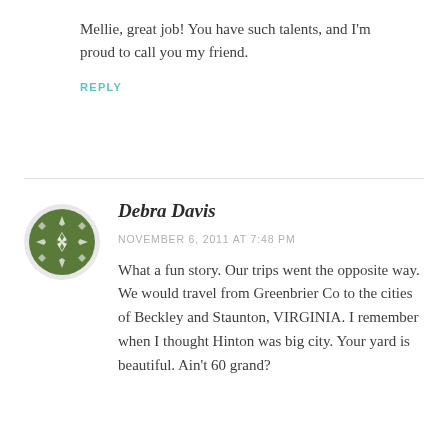Mellie, great job! You have such talents, and I'm proud to call you my friend.
REPLY
Debra Davis
NOVEMBER 6, 2011 AT 7:48 PM
What a fun story. Our trips went the opposite way. We would travel from Greenbrier Co to the cities of Beckley and Staunton, VIRGINIA. I remember when I thought Hinton was big city. Your yard is beautiful. Ain't 60 grand?